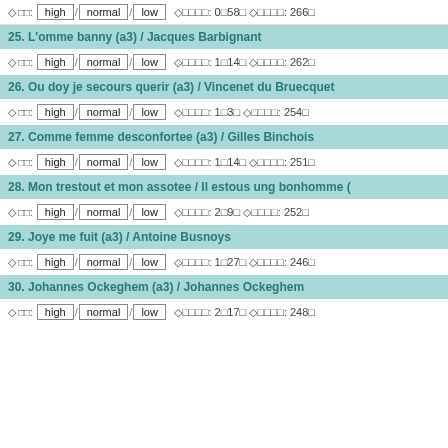◇□□: high / normal / low ◇□□□□: 0□58□ ◇□□□□: 266□
25. L'omme banny (a3) / Jacques Barbignant
◇□□: high / normal / low ◇□□□□: 1□14□ ◇□□□□: 262□
26. Ou doy je secours querir (a3) / Vincenet du Bruecquet
◇□□: high / normal / low ◇□□□□: 1□3□ ◇□□□□: 254□
27. Comme femme desconfortee (a3) / Gilles Binchois
◇□□: high / normal / low ◇□□□□: 1□14□ ◇□□□□: 251□
28. Mon trestout et mon assotee / Il estous ung bonhomme (…
◇□□: high / normal / low ◇□□□□: 2□9□ ◇□□□□: 252□
29. Joye me fuit (a3) / Antoine Busnoys
◇□□: high / normal / low ◇□□□□: 1□27□ ◇□□□□: 246□
30. Johannes Ockeghem (a3) / Johannes Ockeghem
◇□□: high / normal / low ◇□□□□: 2□17□ ◇□□□□: 248□